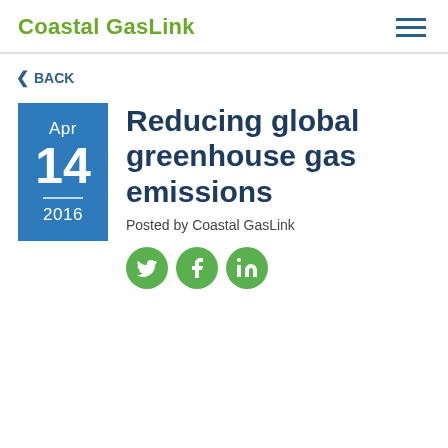Coastal GasLink
< BACK
[Figure (screenshot): Blue date box showing Apr 14 2016]
Reducing global greenhouse gas emissions
Posted by Coastal GasLink
[Figure (infographic): Social media share icons: Twitter, Facebook, LinkedIn]